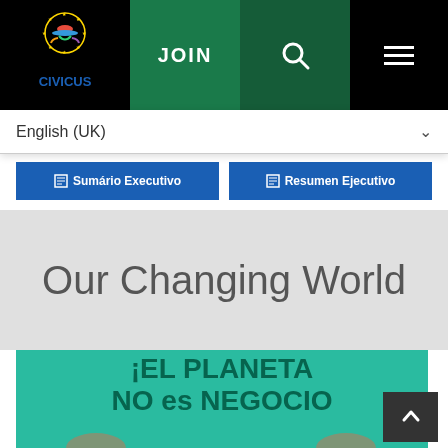[Figure (logo): CIVICUS organization logo with star circle emblem and colorful hat icon above the text CIVICUS in blue]
JOIN | Search | Menu navigation bar
English (UK)
Sumário Executivo
Resumen Ejecutivo
Our Changing World
[Figure (photo): Photo of a protest sign reading 'EL PLANETA NO es NEGOCIO' (The Planet is Not a Business) against a teal/green background, partially cropped at bottom of page]